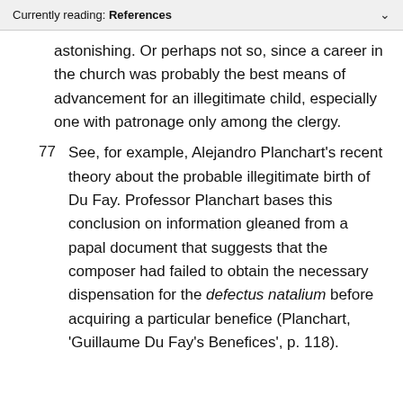Currently reading: References
astonishing. Or perhaps not so, since a career in the church was probably the best means of advancement for an illegitimate child, especially one with patronage only among the clergy.
77  See, for example, Alejandro Planchart's recent theory about the probable illegitimate birth of Du Fay. Professor Planchart bases this conclusion on information gleaned from a papal document that suggests that the composer had failed to obtain the necessary dispensation for the defectus natalium before acquiring a particular benefice (Planchart, 'Guillaume Du Fay's Benefices', p. 118).